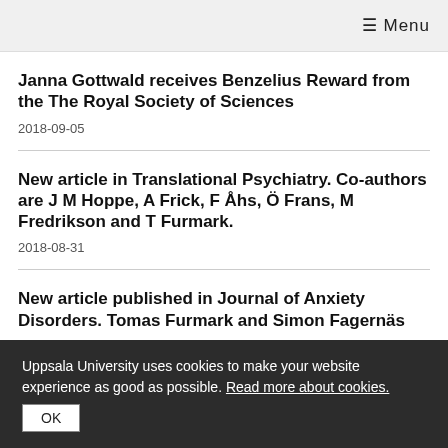≡ Menu
Janna Gottwald receives Benzelius Reward from the The Royal Society of Sciences
2018-09-05
New article in Translational Psychiatry. Co-authors are J M Hoppe, A Frick, F Åhs, Ö Frans, M Fredrikson and T Furmark.
2018-08-31
New article published in Journal of Anxiety Disorders. Tomas Furmark and Simon Fagernäs
Uppsala University uses cookies to make your website experience as good as possible. Read more about cookies.